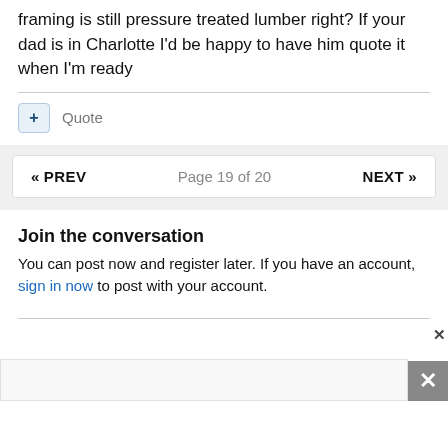framing is still pressure treated lumber right? If your dad is in Charlotte I'd be happy to have him quote it when I'm ready
+ Quote
« PREV   Page 19 of 20   NEXT »
Join the conversation
You can post now and register later. If you have an account, sign in now to post with your account.
[Figure (other): Advertisement area with close button (X) in upper right and an X icon in a gray box at lower right]